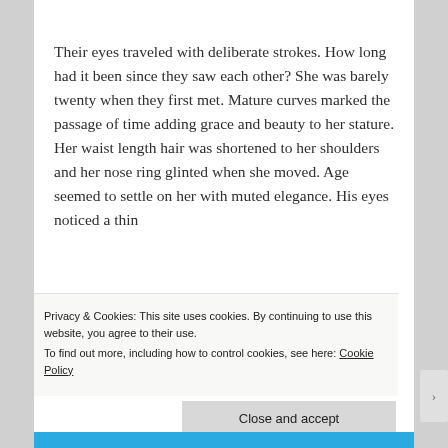Their eyes traveled with deliberate strokes. How long had it been since they saw each other? She was barely twenty when they first met. Mature curves marked the passage of time adding grace and beauty to her stature. Her waist length hair was shortened to her shoulders and her nose ring glinted when she moved. Age seemed to settle on her with muted elegance. His eyes noticed a thin
Privacy & Cookies: This site uses cookies. By continuing to use this website, you agree to their use.
To find out more, including how to control cookies, see here: Cookie Policy
Close and accept